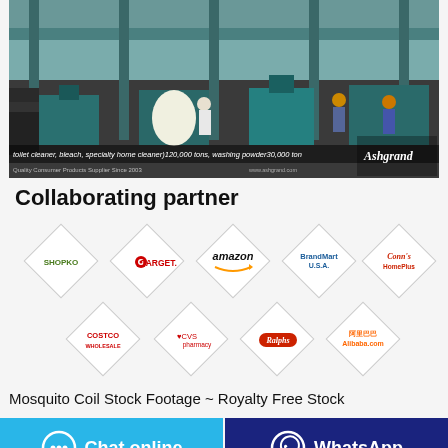[Figure (photo): Factory interior showing industrial manufacturing equipment, workers in hard hats. Overlay text: 'toilet cleaner, bleach, specialty home cleaner)120,000 tons, washing powder30,000 ton' and brand logo 'Ashgrand'. Caption: 'Quality Consumer Products Supplier Since 2003']
Collaborating partner
[Figure (logo): Diamond-shaped logo tiles in two rows showing partner brand logos: Row 1: SHOPKO, TARGET, amazon, BrandMart U.S.A., Conn's HomePlus. Row 2: COSTCO, CVS pharmacy, Ralphs, Alibaba.com]
Mosquito Coil Stock Footage ~ Royalty Free Stock
Chat online
WhatsApp